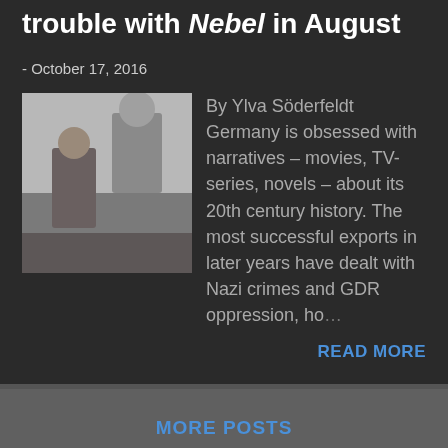trouble with Nebel in August
- October 17, 2016
[Figure (photo): Two people in black and white film still — a young boy and an adult man in a suit]
By Ylva Söderfeldt Germany is obsessed with narratives – movies, TV-series, novels – about its 20th century history. The most successful exports in later years have dealt with Nazi crimes and GDR oppression, ho…
READ MORE
MORE POSTS
Powered by Blogger
Theme images by Jason Morrow